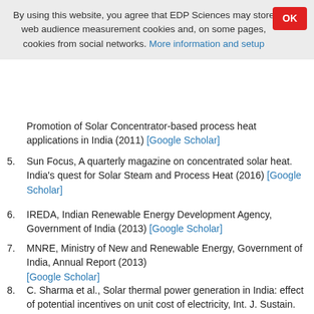By using this website, you agree that EDP Sciences may store web audience measurement cookies and, on some pages, cookies from social networks. More information and setup
Promotion of Solar Concentrator-based process heat applications in India (2011) [Google Scholar]
5. Sun Focus, A quarterly magazine on concentrated solar heat. India's quest for Solar Steam and Process Heat (2016) [Google Scholar]
6. IREDA, Indian Renewable Energy Development Agency, Government of India (2013) [Google Scholar]
7. MNRE, Ministry of New and Renewable Energy, Government of India, Annual Report (2013) [Google Scholar]
8. C. Sharma et al., Solar thermal power generation in India: effect of potential incentives on unit cost of electricity, Int. J. Sustain. Energy 36, 722 (2015)